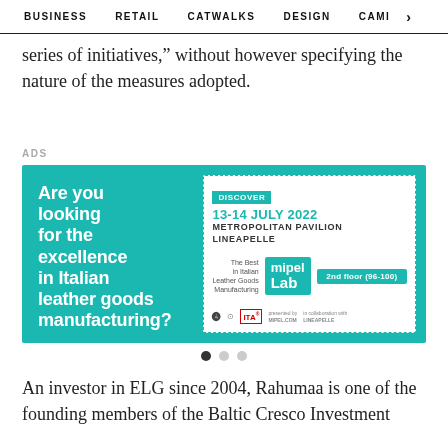BUSINESS   RETAIL   CATWALKS   DESIGN   CAMI  >
series of initiatives," without however specifying the nature of the measures adopted.
ADS
[Figure (infographic): Advertisement banner for mipel Lab at Lineapelle, 13-14 July 2022, Metropolitan Pavilion, 2nd floor (96-100). Teal background on left with white text: 'Are you looking for the excellence in Italian leather goods manufacturing?'. Right side white panel with dashed teal border showing Discover badge, date, venue, mipel Lab logo, and sponsor logos.]
An investor in ELG since 2004, Rahumaa is one of the founding members of the Baltic Cresco Investment